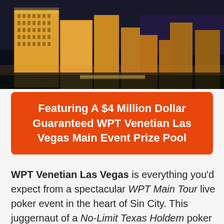[Figure (photo): Aerial nighttime photo of the Las Vegas Strip showing illuminated casino hotels including the Venetian and surrounding buildings]
Featuring A $4 Million Dollar Guaranteed WPT Venetian Las Vegas Main Event Prize Pool
WPT Venetian Las Vegas is everything you'd expect from a spectacular WPT Main Tour live poker event in the heart of Sin City. This juggernaut of a No-Limit Texas Holdem poker tournament runs July 12-17, 2022 at one of the